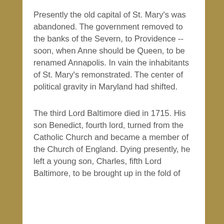Presently the old capital of St. Mary's was abandoned. The government removed to the banks of the Severn, to Providence -- soon, when Anne should be Queen, to be renamed Annapolis. In vain the inhabitants of St. Mary's remonstrated. The center of political gravity in Maryland had shifted.
The third Lord Baltimore died in 1715. His son Benedict, fourth lord, turned from the Catholic Church and became a member of the Church of England. Dying presently, he left a young son, Charles, fifth Lord Baltimore, to be brought up in the fold of